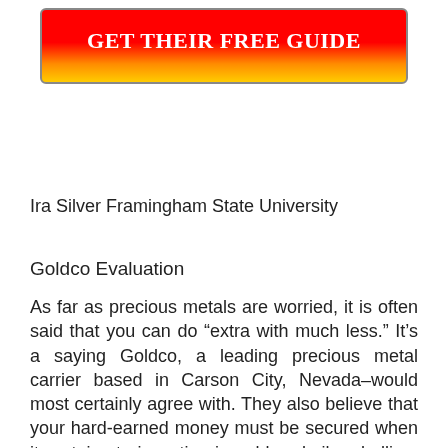[Figure (other): Red-to-gold gradient button with text GET THEIR FREE GUIDE in white bold serif font]
Ira Silver Framingham State University
Goldco Evaluation
As far as precious metals are worried, it is often said that you can do “extra with much less.” It’s a saying Goldco, a leading precious metal carrier based in Carson City, Nevada–would most certainly agree with. They also believe that your hard-earned money must be secured when it pertains to investing in gold and silver bullion. With over 20 years of experience in the industry, they have